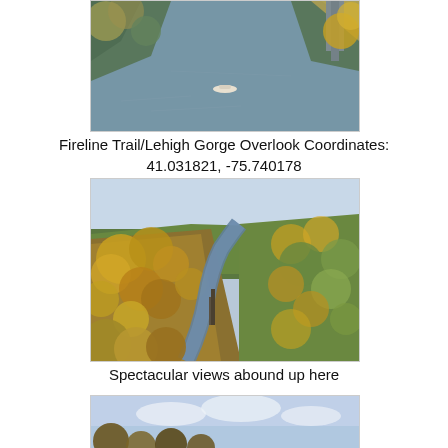[Figure (photo): Aerial view of a river from above, with a small boat visible on the grey-blue water, autumn foliage on banks, and a structure visible in upper right corner.]
Fireline Trail/Lehigh Gorge Overlook Coordinates: 41.031821, -75.740178
[Figure (photo): Panoramic view of the Lehigh Gorge from an overlook, showing a winding river below surrounded by dense autumn foliage in yellows, oranges, and greens. A tall structure (chimney or tower) is visible near the river.]
Spectacular views abound up here
[Figure (photo): Partial view of another scenic overlook photo showing treetops and blue sky (cropped at bottom of page).]